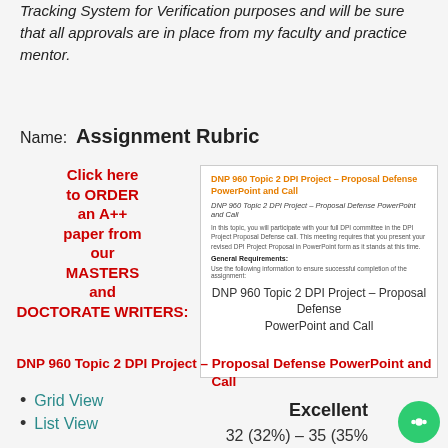Tracking System for Verification purposes and will be sure that all approvals are in place from my faculty and practice mentor.
Name:  Assignment Rubric
Click here to ORDER an A++ paper from our MASTERS and DOCTORATE WRITERS:DNP 960 Topic 2 DPI Project – Proposal Defense PowerPoint and Call
[Figure (screenshot): Preview box showing DNP 960 Topic 2 DPI Project – Proposal Defense PowerPoint and Call assignment page with orange title, subtitle, body text about DPI committee, General Requirements section, and centered text repeating the assignment title.]
Grid View
List View
Excellent
32 (32%) – 35 (35%